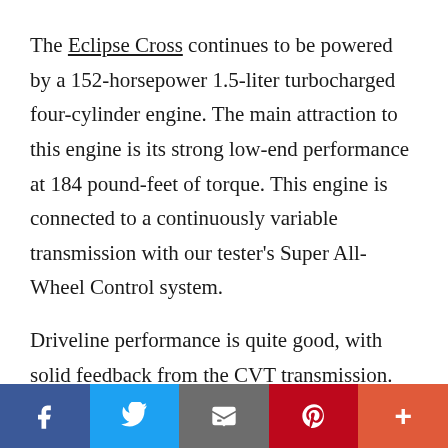The Eclipse Cross continues to be powered by a 152-horsepower 1.5-liter turbocharged four-cylinder engine. The main attraction to this engine is its strong low-end performance at 184 pound-feet of torque. This engine is connected to a continuously variable transmission with our tester's Super All-Wheel Control system.
Driveline performance is quite good, with solid feedback from the CVT transmission. Highway maneuvers, including passing, is done without much drama from the driveline. In terms of fuel economy, we averaged 24.8 MPG.
Social share bar: Facebook, Twitter, Email, Pinterest, Plus